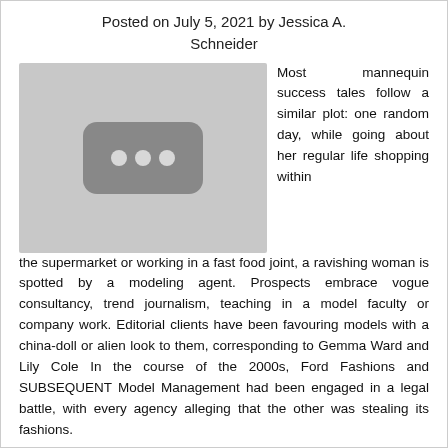Posted on July 5, 2021 by Jessica A. Schneider
[Figure (photo): Placeholder image with a dark rounded rectangle containing three light dots, on a light gray background]
Most mannequin success tales follow a similar plot: one random day, while going about her regular life shopping within the supermarket or working in a fast food joint, a ravishing woman is spotted by a modeling agent. Prospects embrace vogue consultancy, trend journalism, teaching in a model faculty or company work. Editorial clients have been favouring models with a china-doll or alien look to them, corresponding to Gemma Ward and Lily Cole In the course of the 2000s, Ford Fashions and SUBSEQUENT Model Management had been engaged in a legal battle, with every agency alleging that the other was stealing its fashions.